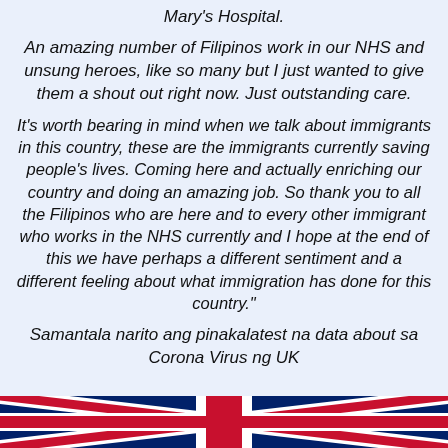Mary's Hospital.
An amazing number of Filipinos work in our NHS and unsung heroes, like so many but I just wanted to give them a shout out right now. Just outstanding care.
It's worth bearing in mind when we talk about immigrants in this country, these are the immigrants currently saving people's lives. Coming here and actually enriching our country and doing an amazing job. So thank you to all the Filipinos who are here and to every other immigrant who works in the NHS currently and I hope at the end of this we have perhaps a different sentiment and a different feeling about what immigration has done for this country."
Samantala narito ang pinakalatest na data about sa Corona Virus ng UK
[Figure (photo): Bottom strip showing Union Jack (UK flag) partially visible at the bottom of the page]